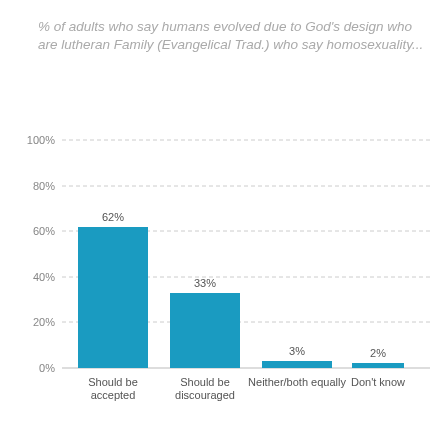% of adults who say humans evolved due to God's design who are lutheran Family (Evangelical Trad.) who say homosexuality...
[Figure (bar-chart): ]